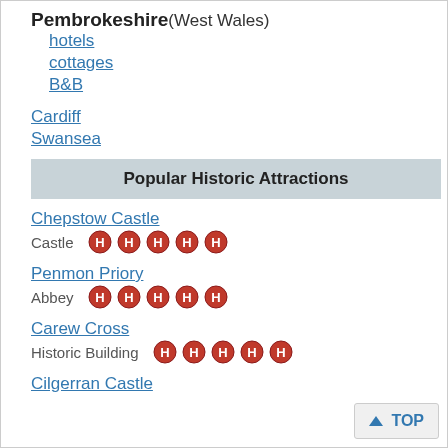Pembrokeshire (West Wales)
hotels
cottages
B&B
Cardiff
Swansea
Popular Historic Attractions
Chepstow Castle
Castle  HHHHH
Penmon Priory
Abbey  HHHHH
Carew Cross
Historic Building  HHHHH
Cilgerran Castle